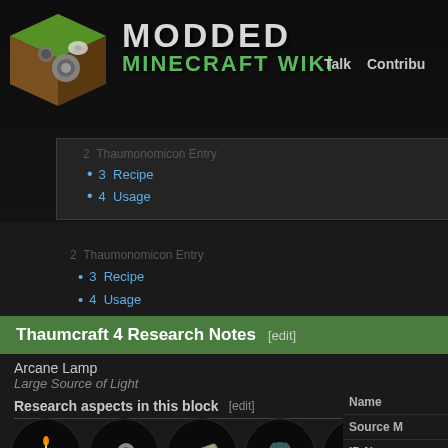MODDED MINECRAFT WIKI  Talk  Contributions
2  Thaumonomicon Entry
3  Recipe
4  Usage
Thaumcraft 4 Research Notes  [edit]
Arcane Lamp
Large Source of Light
Research aspects in this block  [edit]
[Figure (illustration): Six circular icons representing research aspects: candle with 4, gears with 2, ingot with 6, owl with 2, claw/antler with 4, and a blue gem with a key symbol]
Name
Source M
ID Name
Type
Stackabl
Blast Resistan
Hardnes
Solid
Transpa
Affected
Gravity